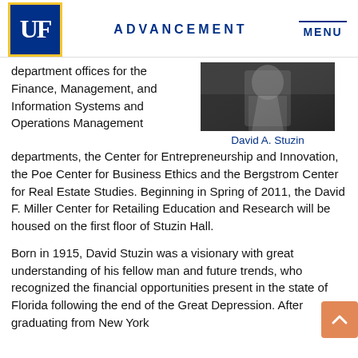UF ADVANCEMENT MENU
department offices for the Finance, Management, and Information Systems and Operations Management departments, the Center for Entrepreneurship and Innovation, the Poe Center for Business Ethics and the Bergstrom Center for Real Estate Studies. Beginning in Spring of 2011, the David F. Miller Center for Retailing Education and Research will be housed on the first floor of Stuzin Hall.
[Figure (photo): Black and white portrait photo of David A. Stuzin]
David A. Stuzin
Born in 1915, David Stuzin was a visionary with great understanding of his fellow man and future trends, who recognized the financial opportunities present in the state of Florida following the end of the Great Depression. After graduating from New York